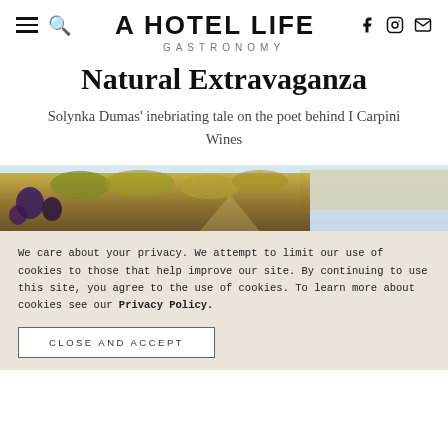A HOTEL LIFE | GASTRONOMY
Natural Extravaganza
Solynka Dumas' inebriating tale on the poet behind I Carpini Wines
[Figure (photo): Vineyard with autumn foliage and grape clusters]
We care about your privacy. We attempt to limit our use of cookies to those that help improve our site. By continuing to use this site, you agree to the use of cookies. To learn more about cookies see our Privacy Policy.
CLOSE AND ACCEPT